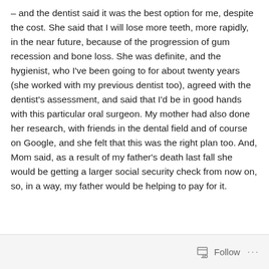– and the dentist said it was the best option for me, despite the cost. She said that I will lose more teeth, more rapidly, in the near future, because of the progression of gum recession and bone loss. She was definite, and the hygienist, who I've been going to for about twenty years (she worked with my previous dentist too), agreed with the dentist's assessment, and said that I'd be in good hands with this particular oral surgeon. My mother had also done her research, with friends in the dental field and of course on Google, and she felt that this was the right plan too. And, Mom said, as a result of my father's death last fall she would be getting a larger social security check from now on, so, in a way, my father would be helping to pay for it.
Follow ···